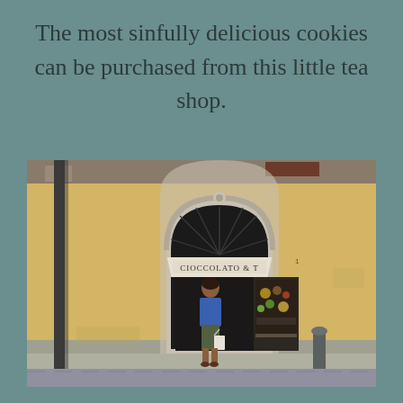The most sinfully delicious cookies can be purchased from this little tea shop.
[Figure (photo): A woman in a blue jacket and green dress standing at the entrance of an Italian shop called 'CIOCCOLATO &' with an arched doorway and display windows, set in a yellow ochre building facade. There is a lamp post on the left and another post on the right.]